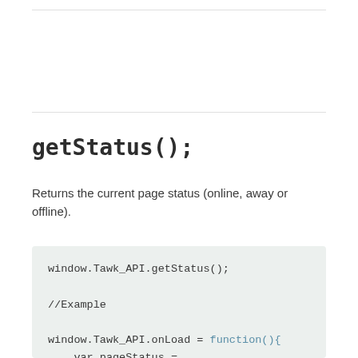getStatus();
Returns the current page status (online, away or offline).
window.Tawk_API.getStatus();

//Example

window.Tawk_API.onLoad = function(){
    var pageStatus =
window.Tawk_API.getStatus();